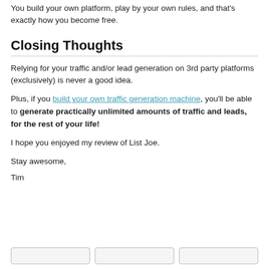You build your own platform, play by your own rules, and that's exactly how you become free.
Closing Thoughts
Relying for your traffic and/or lead generation on 3rd party platforms (exclusively) is never a good idea.
Plus, if you build your own traffic generation machine, you'll be able to generate practically unlimited amounts of traffic and leads, for the rest of your life!
I hope you enjoyed my review of List Joe.
Stay awesome,
Tim